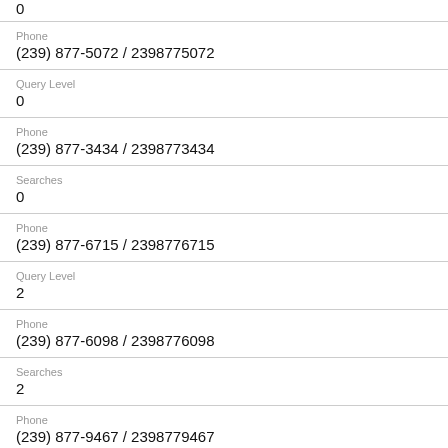0
Phone
(239) 877-5072 / 2398775072
Query Level
0
Phone
(239) 877-3434 / 2398773434
Searches
0
Phone
(239) 877-6715 / 2398776715
Query Level
2
Phone
(239) 877-6098 / 2398776098
Searches
2
Phone
(239) 877-9467 / 2398779467